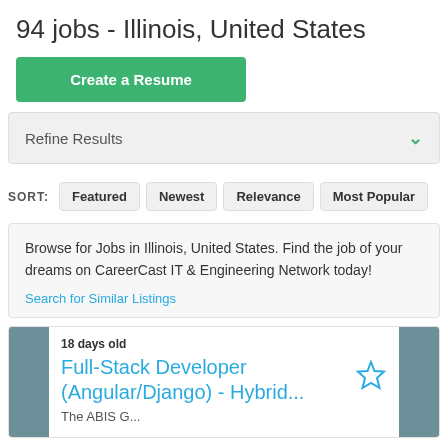94 jobs - Illinois, United States
Create a Resume
Refine Results
SORT: Featured  Newest  Relevance  Most Popular
Browse for Jobs in Illinois, United States. Find the job of your dreams on CareerCast IT & Engineering Network today!
Search for Similar Listings
18 days old
Full-Stack Developer (Angular/Django) - Hybrid...
The ABIS G...